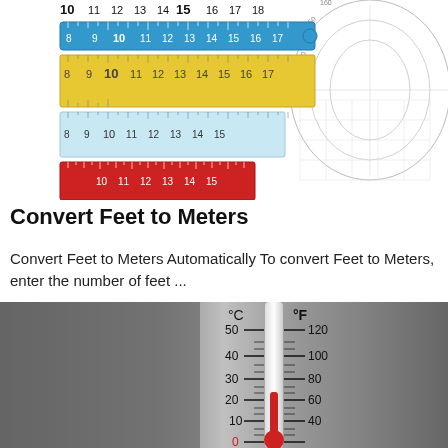[Figure (illustration): Multiple rulers (blue, yellow, light blue, red) and a protractor/angle measurement tool arranged together as measuring instruments]
Convert Feet to Meters
Convert Feet to Meters Automatically To convert Feet to Meters, enter the number of feet ...
[Figure (photo): Close-up photo of a thermometer showing both Celsius and Fahrenheit scales. Celsius side shows 0, 10, 20, 30, 40, 50 and Fahrenheit side shows 40, 60, 80, 100, 120.]